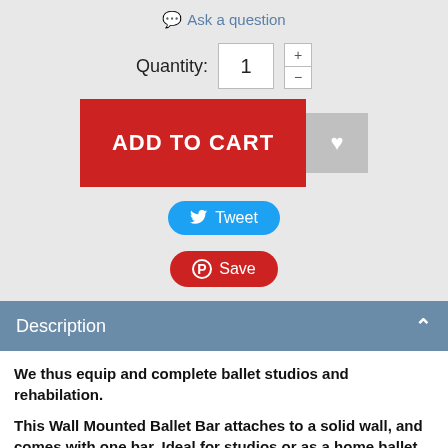💬 Ask a question
Quantity: 1
[Figure (other): ADD TO CART button (red) and wishlist heart button (gray)]
[Figure (other): Tweet button (blue, rounded)]
[Figure (other): Save button (red, rounded, Pinterest icon)]
Description
We thus equip and complete ballet studios and rehabilation.

This Wall Mounted Ballet Bar attaches to a solid wall, and comes with one bar. Ideal for studios or as a home ballet bar.